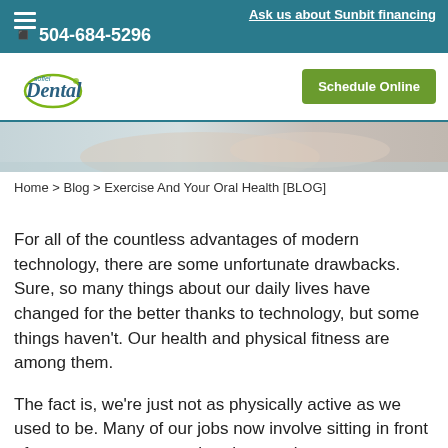Ask us about Sunbit financing  504-684-5296
[Figure (logo): Sofitel Dental logo with circular swoosh]
Schedule Online
[Figure (photo): Hero image strip showing hands, partial view]
Home > Blog > Exercise And Your Oral Health [BLOG]
For all of the countless advantages of modern technology, there are some unfortunate drawbacks. Sure, so many things about our daily lives have changed for the better thanks to technology, but some things haven't. Our health and physical fitness are among them.
The fact is, we're just not as physically active as we used to be. Many of our jobs now involve sitting in front of a computer screen rather than getting out